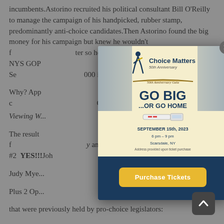incumbents. Astorino recruited his political consultant Bill O'Reilly to manage the campaign of his handpicked, rubber stamp, predominantly anti-choice candidates. Then Astorino found the big money for his campaign but knew he wouldn't find the right-wing rubber stamp after so he headed to—and was a featured speaker at—the National, the NYS GOP Convention—to raise money and cherry pick the likes of Senator Jim Tedisco who raised $169,000 in Westchester and Putnam for these far-right candidates.
Why? Apparently he is considering a run for governor and a possible challenge in a GOP Viewing W...
The results of the June 27th primary showed a predicted outcome for the Westchester Democratic Party: anti-choice extremists were beaten. CLD #2 YES!!! John...witz, CLD #4  YES!!!
Judy Mye...
Plus 2 Op...
that were previously held by pro-choice legislators:
Catherine Borris, CLD #8 YES!!!
[Figure (infographic): A popup modal overlay showing a 'Choice Matters 50th Anniversary GO BIG ...OR GO HOME' event flyer for September 15th, 2023, 6pm-9pm in Scarsdale, NY, with a dark blue section below containing a yellow 'Purchase Tickets' button.]